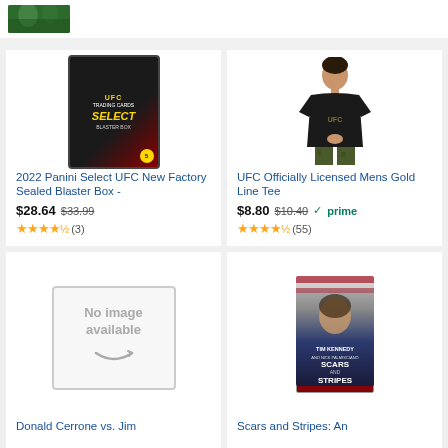[Figure (photo): Partial photo of a person in green clothing at top of page]
[Figure (photo): 2022 Panini Select UFC trading card blaster box product image]
2022 Panini Select UFC New Factory Sealed Blaster Box -
$28.64 $33.99 ★★★★½ (3)
[Figure (photo): UFC Officially Licensed Mens Gold Line Tee product image showing man in black UFC t-shirt]
UFC Officially Licensed Mens Gold Line Tee
$8.80 $10.40 ✓prime ★★★★½ (55)
[Figure (photo): No image available placeholder with Amazon smile logo]
Donald Cerrone vs. Jim
[Figure (photo): Book cover for Scars and Stripes by Tim Kennedy]
Scars and Stripes: An